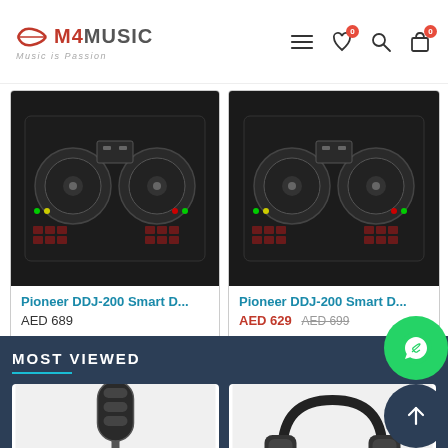[Figure (screenshot): M4Music website header with logo, hamburger menu, wishlist icon (badge 0), search icon, and cart icon (badge 0)]
[Figure (photo): Pioneer DDJ-200 Smart DJ Controller product image - left card]
Pioneer DDJ-200 Smart D...
AED 689
[Figure (photo): Pioneer DDJ-200 Smart DJ Controller product image - right card]
Pioneer DDJ-200 Smart D...
AED 629  AED 699
MOST VIEWED
[Figure (photo): Most Viewed product card 1 - microphone or audio device partially visible]
[Figure (photo): Most Viewed product card 2 - headphones partially visible]